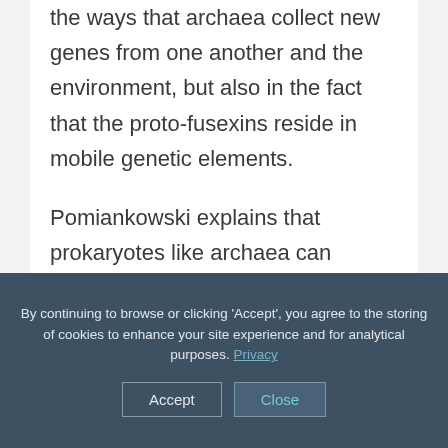the ways that archaea collect new genes from one another and the environment, but also in the fact that the proto-fusexins reside in mobile genetic elements.
Pomiankowski explains that prokaryotes like archaea can exchange genes through viral infections or through plasmids, pieces of genetic
By continuing to browse or clicking 'Accept', you agree to the storing of cookies to enhance your site experience and for analytical purposes. Privacy